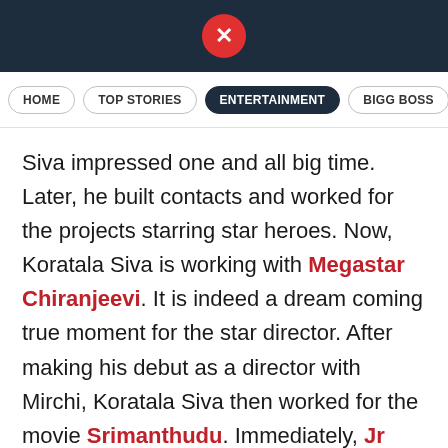X (logo)
HOME | TOP STORIES | ENTERTAINMENT | BIGG BOSS
Siva impressed one and all big time. Later, he built contacts and worked for the projects starring star heroes. Now, Koratala Siva is working with Megastar Chiranjeevi. It is indeed a dream coming true moment for the star director. After making his debut as a director with Mirchi, Koratala Siva then worked for the movie Srimanthudu. Immediately, Jr NTR offered him a chance to work with him and Janatha Garage took place. Mahesh